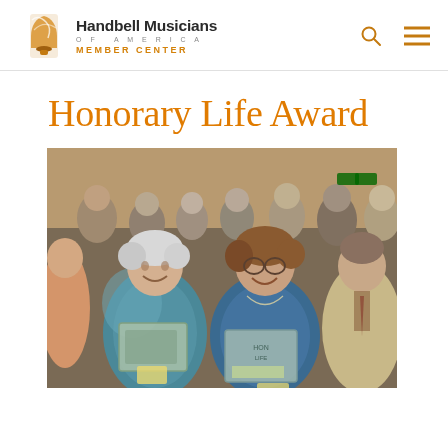Handbell Musicians of America — Member Center
Honorary Life Award
[Figure (photo): Two elderly women seated in a crowded event hall, both smiling and holding glass award plaques. They are wearing blue patterned tops. Behind them is a large audience. One award plaque is partially visible and reads 'Honorary Life'.]